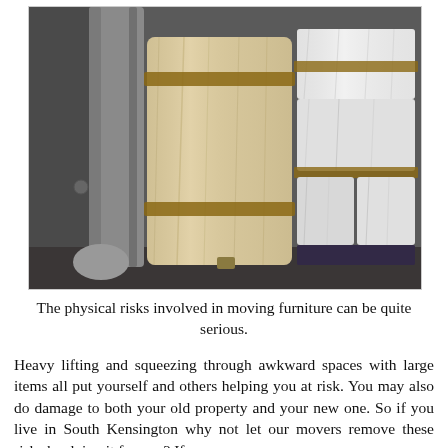[Figure (photo): A photo of a moving truck or storage space tightly packed with furniture items wrapped in plastic and stretch wrap — including what appears to be rolled mattresses or padding wrapped in tan/beige plastic film with brown tape, and white fabric-wrapped rectangular items stacked on the right side. Dark background on the left with a cylindrical column.]
The physical risks involved in moving furniture can be quite serious.
Heavy lifting and squeezing through awkward spaces with large items all put yourself and others helping you at risk. You may also do damage to both your old property and your new one. So if you live in South Kensington why not let our movers remove these risks by doing it for you? If